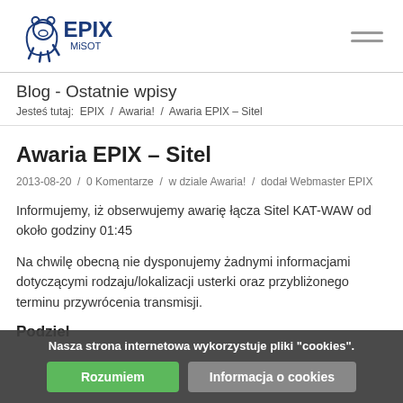[Figure (logo): EPIX MiSOT logo with polar bear icon in blue]
Blog - Ostatnie wpisy
Jesteś tutaj:  EPIX  /  Awaria!  /  Awaria EPIX – Sitel
Awaria EPIX – Sitel
2013-08-20  /  0 Komentarze  /  w dziale Awaria!  /  dodał Webmaster EPIX
Informujemy, iż obserwujemy awarię łącza Sitel KAT-WAW od około godziny 01:45
Na chwilę obecną nie dysponujemy żadnymi informacjami dotyczącymi rodzaju/lokalizacji usterki oraz przybliżonego terminu przywrócenia transmisji.
Nasza strona internetowa wykorzystuje pliki "cookies".
Rozumiem
Informacja o cookies
Podziel